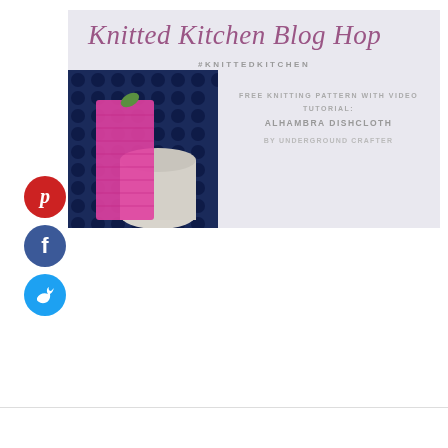[Figure (illustration): Knitted Kitchen Blog Hop banner with #KNITTEDKITCHEN hashtag, a photo of a pink knitted dishcloth leaning against a polka-dot vase, and text 'Free Knitting Pattern with Video Tutorial: Alhambra Dishcloth by Underground Crafter']
[Figure (illustration): Red circular Pinterest share button with 'p' icon]
[Figure (illustration): Dark blue circular Facebook share button with 'f' icon]
[Figure (illustration): Light blue circular Twitter share button with bird icon]